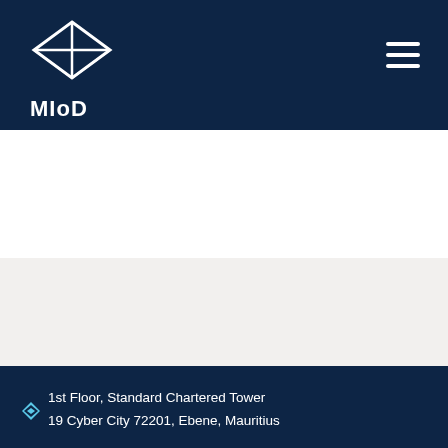[Figure (logo): MIoD logo - diamond/envelope shape in white with text MIoD below]
1st Floor, Standard Chartered Tower
19 Cyber City 72201, Ebene, Mauritius